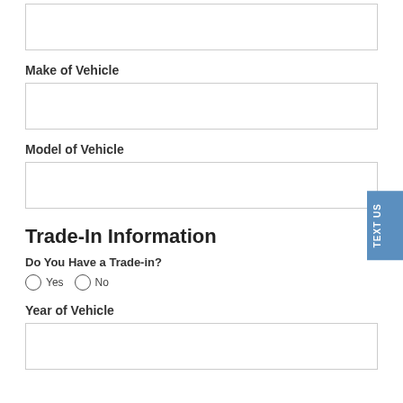Make of Vehicle
Model of Vehicle
Trade-In Information
Do You Have a Trade-in?
Yes
No
Year of Vehicle